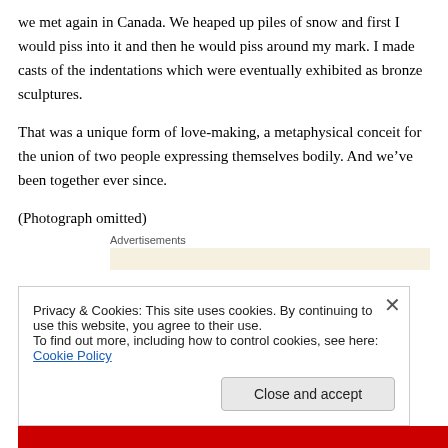we met again in Canada. We heaped up piles of snow and first I would piss into it and then he would piss around my mark. I made casts of the indentations which were eventually exhibited as bronze sculptures.
That was a unique form of love-making, a metaphysical conceit for the union of two people expressing themselves bodily. And we’ve been together ever since.
(Photograph omitted)
Advertisements
Privacy & Cookies: This site uses cookies. By continuing to use this website, you agree to their use.
To find out more, including how to control cookies, see here: Cookie Policy